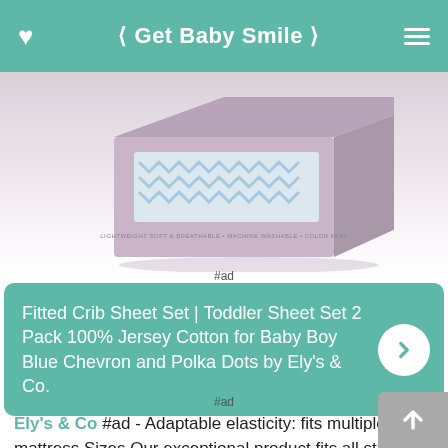< Get Baby Smile >
[Figure (photo): Product box of Ely's & Co. Fitted Crib Sheet Set, mauve/pink box with text 'LIGHTWEIGHT SOFT & BREATHABLE | MACHINE WASHABLE | COLOR FAST']
#ad
Fitted Crib Sheet Set | Toddler Sheet Set 2 Pack 100% Jersey Cotton for Baby Boy Blue Chevron and Polka Dots by Ely's & Co.
#ad
Ely's & Co #ad - Adaptable elasticity: fits multiple mattress Sizes Our exceptional product fits all standard mattresses sold for Cribs and Toddler Beds, enabling a great fit on irregular sized mattresses. Our signature feature ensures that there is no bunching, or too-loose fit on our crib